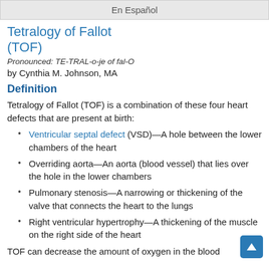En Español
Tetralogy of Fallot (TOF)
Pronounced: TE-TRAL-o-je of fal-O
by Cynthia M. Johnson, MA
Definition
Tetralogy of Fallot (TOF) is a combination of these four heart defects that are present at birth:
Ventricular septal defect (VSD)—A hole between the lower chambers of the heart
Overriding aorta—An aorta (blood vessel) that lies over the hole in the lower chambers
Pulmonary stenosis—A narrowing or thickening of the valve that connects the heart to the lungs
Right ventricular hypertrophy—A thickening of the muscle on the right side of the heart
TOF can decrease the amount of oxygen in the blood